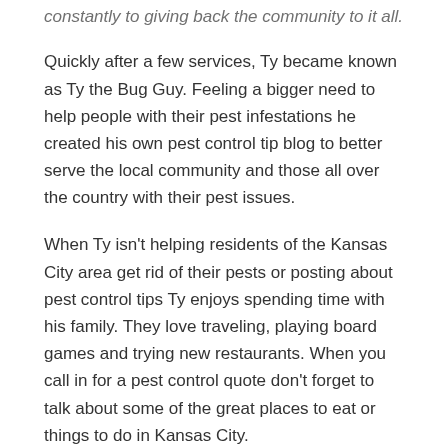constantly to giving back the community to it all.
Quickly after a few services, Ty became known as Ty the Bug Guy. Feeling a bigger need to help people with their pest infestations he created his own pest control tip blog to better serve the local community and those all over the country with their pest issues.
When Ty isn't helping residents of the Kansas City area get rid of their pests or posting about pest control tips Ty enjoys spending time with his family. They love traveling, playing board games and trying new restaurants. When you call in for a pest control quote don't forget to talk about some of the great places to eat or things to do in Kansas City.
Message Ty the Bug Guy
You can also read some of his most popular pest control tips and articles below: